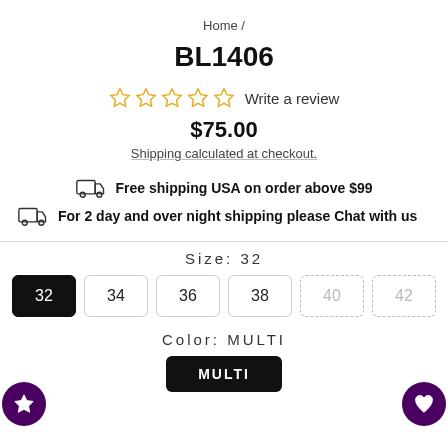Home /
BL1406
☆☆☆☆☆ Write a review
$75.00
Shipping calculated at checkout.
Free shipping USA on order above $99
For 2 day and over night shipping please Chat with us
Size: 32
32  34  36  38  40  42
Color: MULTI
MULTI